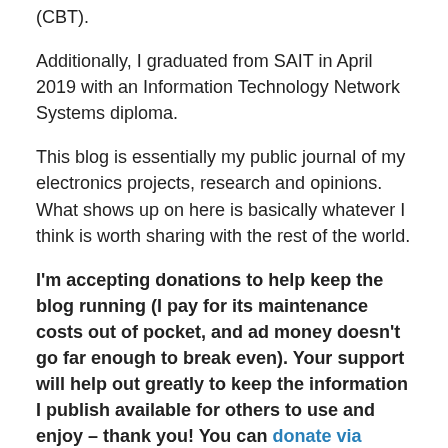(CBT).
Additionally, I graduated from SAIT in April 2019 with an Information Technology Network Systems diploma.
This blog is essentially my public journal of my electronics projects, research and opinions. What shows up on here is basically whatever I think is worth sharing with the rest of the world.
I'm accepting donations to help keep the blog running (I pay for its maintenance costs out of pocket, and ad money doesn't go far enough to break even). Your support will help out greatly to keep the information I publish available for others to use and enjoy – thank you! You can donate via PayPal here – every bit helps!
Advertisements
Professionally designed sites